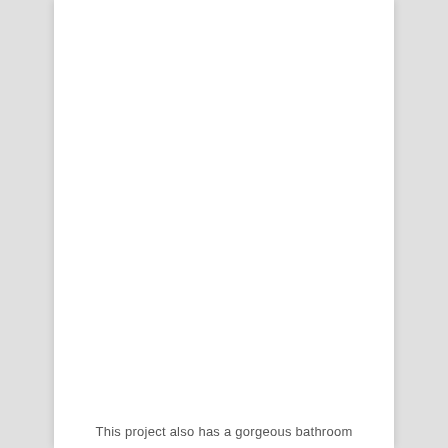[Figure (photo): A mostly white/blank page with a photo area that appears blank or very light — image content not visible]
This project also has a gorgeous bathroom